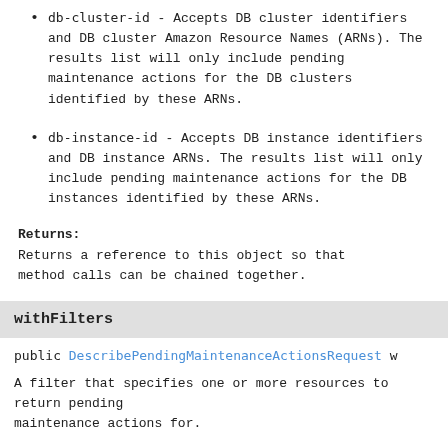db-cluster-id - Accepts DB cluster identifiers and DB cluster Amazon Resource Names (ARNs). The results list will only include pending maintenance actions for the DB clusters identified by these ARNs.
db-instance-id - Accepts DB instance identifiers and DB instance ARNs. The results list will only include pending maintenance actions for the DB instances identified by these ARNs.
Returns:
Returns a reference to this object so that method calls can be chained together.
withFilters
public DescribePendingMaintenanceActionsRequest w
A filter that specifies one or more resources to return pending maintenance actions for.